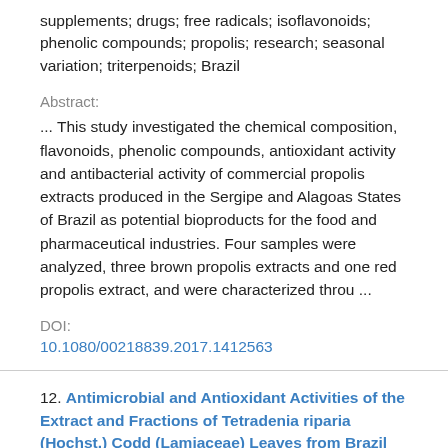supplements; drugs; free radicals; isoflavonoids; phenolic compounds; propolis; research; seasonal variation; triterpenoids; Brazil
Abstract:
... This study investigated the chemical composition, flavonoids, phenolic compounds, antioxidant activity and antibacterial activity of commercial propolis extracts produced in the Sergipe and Alagoas States of Brazil as potential bioproducts for the food and pharmaceutical industries. Four samples were analyzed, three brown propolis extracts and one red propolis extract, and were characterized throu ...
DOI:
10.1080/00218839.2017.1412563
12. Antimicrobial and Antioxidant Activities of the Extract and Fractions of Tetradenia riparia (Hochst.) Codd (Lamiaceae) Leaves from Brazil